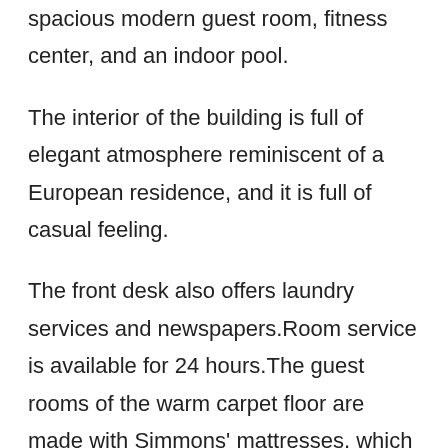This hotel, located a 1 minute walk from Ginza area, has a spacious modern guest room, fitness center, and an indoor pool.
The interior of the building is full of elegant atmosphere reminiscent of a European residence, and it is full of casual feeling.
The front desk also offers laundry services and newspapers.Room service is available for 24 hours.The guest rooms of the warm carpet floor are made with Simmons' mattresses, which provide a comfortable sleep.
It is attractive that there are 10 restaurants in the hotel, such as sushi, shabushabu, Japanese cuisine and buffet.